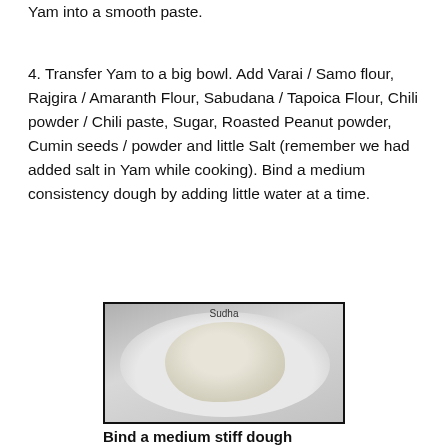3. Upon cooling above minimum, using a grinder, grind Yam into a smooth paste.
4. Transfer Yam to a big bowl. Add Varai / Samo flour, Rajgira / Amaranth Flour, Sabudana / Tapoica Flour, Chili powder / Chili paste, Sugar, Roasted Peanut powder, Cumin seeds / powder and little Salt (remember we had added salt in Yam while cooking). Bind a medium consistency dough by adding little water at a time.
[Figure (photo): A round steel plate/tray containing a ball of dough (medium stiff dough) with visible herbs/spices mixed in. The tray has 'Sudha' written on its rim.]
Bind a medium stiff dough